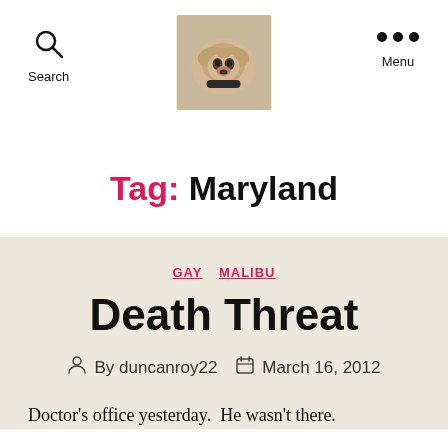Search  [dog photo logo]  Menu
Tag: Maryland
GAY  MALIBU
Death Threat
By duncanroy22   March 16, 2012
Doctor's office yesterday.  He wasn't there.